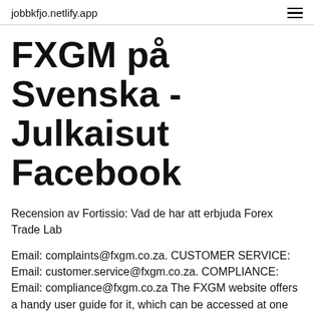jobbkfjo.netlify.app
FXGM på Svenska - Julkaisut Facebook
Recension av Fortissio: Vad de har att erbjuda Forex Trade Lab
Email: complaints@fxgm.co.za. CUSTOMER SERVICE: Email: customer.service@fxgm.co.za. COMPLIANCE: Email: compliance@fxgm.co.za The FXGM website offers a handy user guide for it, which can be accessed at one click, from the